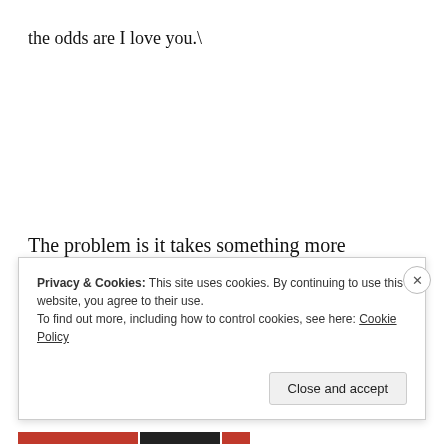the odds are I love you.\
The problem is it takes something more
then just me loving someone
Privacy & Cookies: This site uses cookies. By continuing to use this website, you agree to their use.
To find out more, including how to control cookies, see here: Cookie Policy
Close and accept